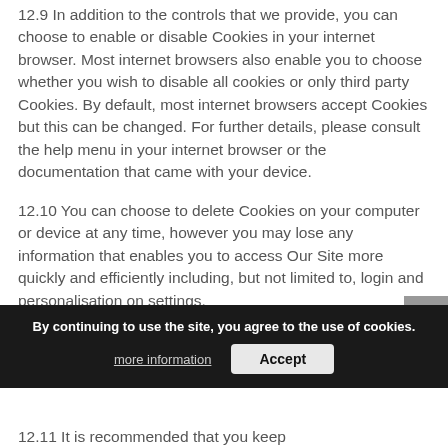12.9 In addition to the controls that we provide, you can choose to enable or disable Cookies in your internet browser. Most internet browsers also enable you to choose whether you wish to disable all cookies or only third party Cookies. By default, most internet browsers accept Cookies but this can be changed. For further details, please consult the help menu in your internet browser or the documentation that came with your device.
12.10 You can choose to delete Cookies on your computer or device at any time, however you may lose any information that enables you to access Our Site more quickly and efficiently including, but not limited to, login and personalisation settings.
12.11 It is recommended that you keep